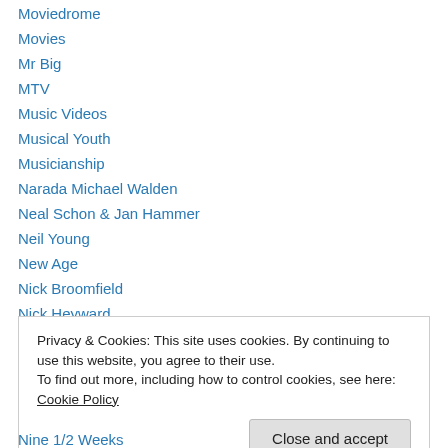Moviedrome
Movies
Mr Big
MTV
Music Videos
Musical Youth
Musicianship
Narada Michael Walden
Neal Schon & Jan Hammer
Neil Young
New Age
Nick Broomfield
Nick Heyward
Privacy & Cookies: This site uses cookies. By continuing to use this website, you agree to their use. To find out more, including how to control cookies, see here: Cookie Policy
Nine 1/2 Weeks